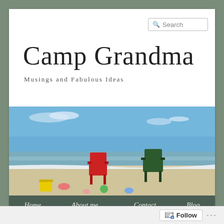Search
Camp Grandma
Musings and Fabulous Ideas
[Figure (photo): Beach scene with blue sky, ocean water, sandy shore, a red Adirondack chair and a dark green plastic chair on the beach, with colorful sand toys scattered in the foreground.]
Home  About me...  Contact  Blog
Follow